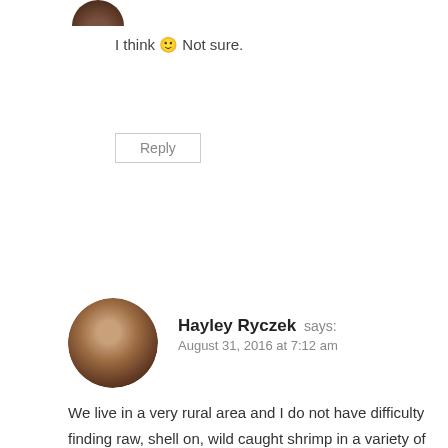I think 🙂 Not sure.
Reply
[Figure (photo): Circular avatar photo of a woman with dark curly hair]
Hayley Ryczek says: August 31, 2016 at 7:12 am
We live in a very rural area and I do not have difficulty finding raw, shell on, wild caught shrimp in a variety of sized bags. Giant Eagle, Kroger and Shop-n-Save all carry them in 1 pound bags.
Reply